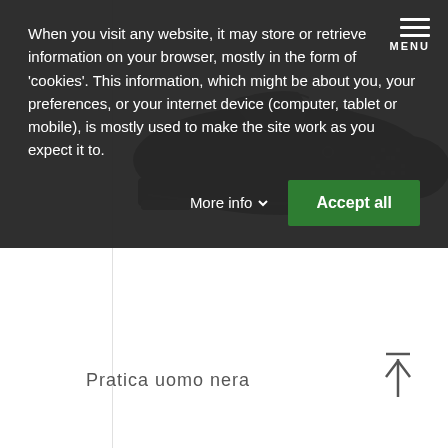[Figure (photo): A black men's dance/practice shoe (lace-up Oxford style) photographed on a white background, viewed from the side showing the left shoe with black upper, laces, and low heel.]
Pratica uomo nera
When you visit any website, it may store or retrieve information on your browser, mostly in the form of 'cookies'. This information, which might be about you, your preferences, or your internet device (computer, tablet or mobile), is mostly used to make the site work as you expect it to.